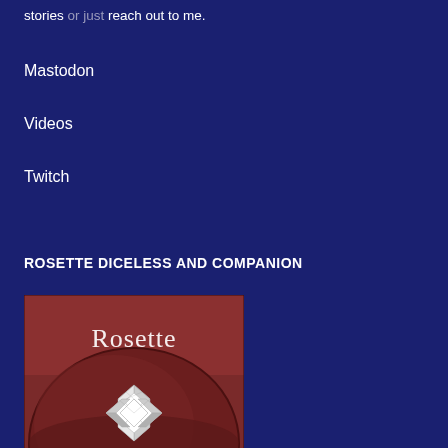stories or just reach out to me.
Mastodon
Videos
Twitch
ROSETTE DICELESS AND COMPANION
[Figure (illustration): Book cover for Rosette Diceless showing reddish-brown tones with a large sphere/globe and a geometric flower/rosette pattern made of hexagonal faceted shapes in white and grey. Title text reads 'Rosette' at top and 'Diceless' at bottom in decorative serif font.]